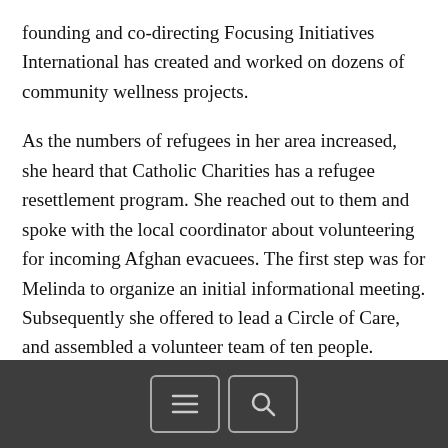founding and co-directing Focusing Initiatives International has created and worked on dozens of community wellness projects.
As the numbers of refugees in her area increased, she heard that Catholic Charities has a refugee resettlement program. She reached out to them and spoke with the local coordinator about volunteering for incoming Afghan evacuees. The first step was for Melinda to organize an initial informational meeting. Subsequently she offered to lead a Circle of Care, and assembled a volunteer team of ten people.
Soon after that, Catholic Charities “assigned” the Circle a family: the father, 25, the mother 19, and a two-year old. They had been taken to a military base in the US, and then
[Figure (other): Dark footer navigation bar with hamburger menu icon and search icon buttons]